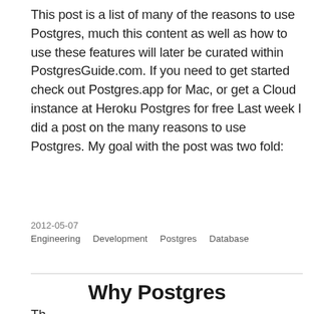This post is a list of many of the reasons to use Postgres, much this content as well as how to use these features will later be curated within PostgresGuide.com. If you need to get started check out Postgres.app for Mac, or get a Cloud instance at Heroku Postgres for free Last week I did a post on the many reasons to use Postgres. My goal with the post was two fold:
2012-05-07
Engineering   Development   Postgres   Database
Why Postgres
Th...